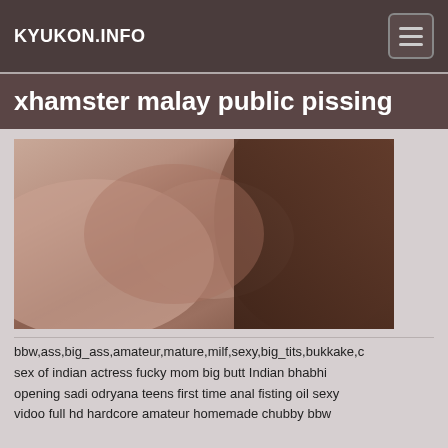KYUKON.INFO
xhamster malay public pissing
[Figure (photo): Thumbnail image with brownish skin tones, close-up photo]
bbw,ass,big_ass,amateur,mature,milf,sexy,big_tits,bukkake,c... sex of indian actress fucky mom big butt Indian bhabhi opening sadi odryana teens first time anal fisting oil sexy vidoo full hd hardcore amateur homemade chubby bbw